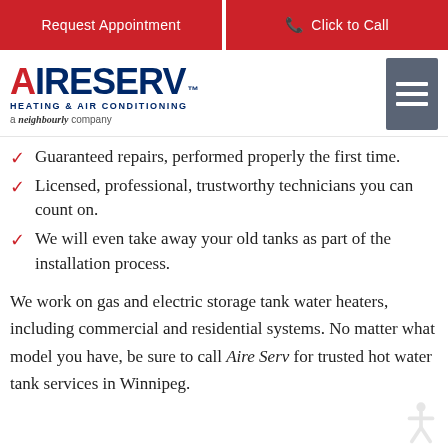Request Appointment | Click to Call
[Figure (logo): Aire Serv Heating & Air Conditioning logo, a Neighbourly company, with hamburger menu icon]
Guaranteed repairs, performed properly the first time.
Licensed, professional, trustworthy technicians you can count on.
We will even take away your old tanks as part of the installation process.
We work on gas and electric storage tank water heaters, including commercial and residential systems. No matter what model you have, be sure to call Aire Serv for trusted hot water tank services in Winnipeg.